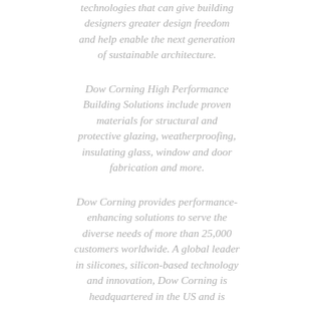technologies that can give building designers greater design freedom and help enable the next generation of sustainable architecture.
Dow Corning High Performance Building Solutions include proven materials for structural and protective glazing, weatherproofing, insulating glass, window and door fabrication and more.
Dow Corning provides performance-enhancing solutions to serve the diverse needs of more than 25,000 customers worldwide. A global leader in silicones, silicon-based technology and innovation, Dow Corning is headquartered in the US and is...